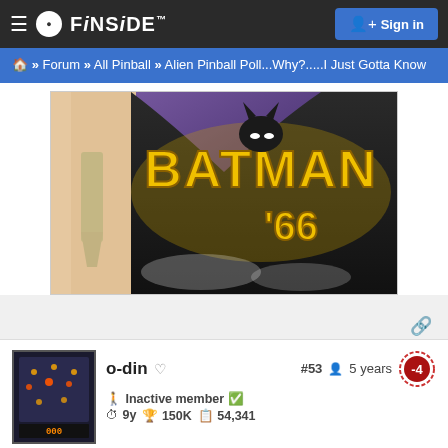≡  ⬤ FiNSiDE™   Sign in
🏠 » Forum » All Pinball » Alien Pinball Poll...Why?.....I Just Gotta Know
[Figure (illustration): Batman '66 comic-style artwork showing Batman logo in yellow with '66 subtitle, purple/dark background, partial figure with green tie on left]
o-din ♡   #53  👤 5 years  [-4]
🚹 Inactive member ✅
🕐 9y 🏆 150K 📋 54,341
Quoted from metallik: